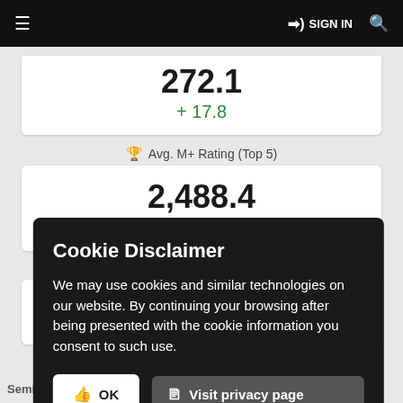≡  →) SIGN IN  🔍
272.1
+ 17.8
🏆 Avg. M+ Rating (Top 5)
2,488.4
+ 856.2
✕ Avg. PvP Rating (Top 3)
Semi-H
Cookie Disclaimer

We may use cookies and similar technologies on our website. By continuing your browsing after being presented with the cookie information you consent to such use.
👍 OK
🗋 Visit privacy page